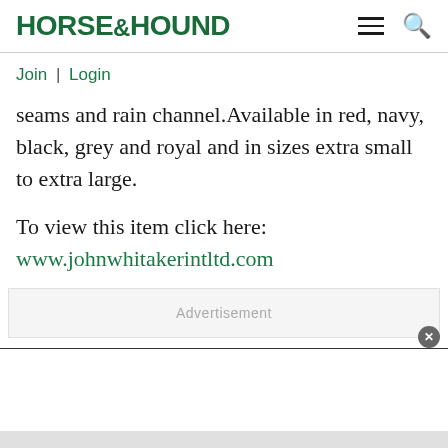HORSE&HOUND
Join | Login
seams and rain channel.Available in red, navy, black, grey and royal and in sizes extra small to extra large.
To view this item click here:
www.johnwhitakerintltd.com
[Figure (other): Advertisement placeholder with close button]
[Figure (other): White advertisement content area]
[Figure (other): Gray bottom section]